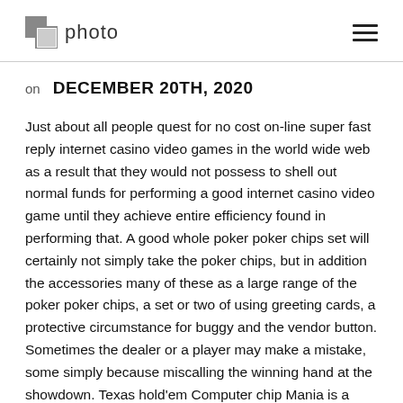photo
on DECEMBER 20TH, 2020
Just about all people quest for no cost on-line super fast reply internet casino video games in the world wide web as a result that they would not possess to shell out normal funds for performing a good internet casino video game until they achieve entire efficiency found in performing that. A good whole poker poker chips set will certainly not simply take the poker chips, but in addition the accessories many of these as a large range of the poker poker chips, a set or two of using greeting cards, a protective circumstance for buggy and the vendor button. Sometimes the dealer or a player may make a mistake, some simply because miscalling the winning hand at the showdown. Texas hold'em Computer chip Mania is a great online retall